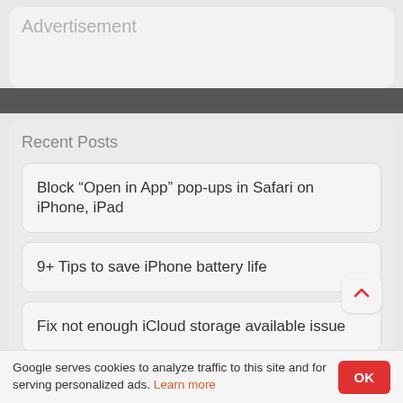Advertisement
Recent Posts
Block “Open in App” pop-ups in Safari on iPhone, iPad
9+ Tips to save iPhone battery life
Fix not enough iCloud storage available issue
Google serves cookies to analyze traffic to this site and for serving personalized ads. Learn more